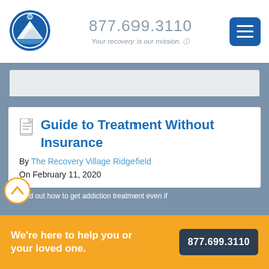[Figure (logo): Recovery Village Ridgefield circular logo with mountain and snowflake]
877.699.3110
Your recovery is our mission.
Guide to Treatment Without Insurance
By The Recovery Village Ridgefield
On February 11, 2020
We're here to help you or your loved one.
877.699.3110